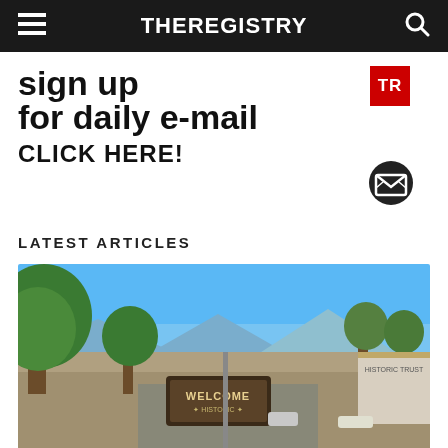THEREGISTRY
[Figure (infographic): Sign up for daily e-mail advertisement banner with TR logo and mail icon. Bold text: 'sign up for daily e-mail CLICK HERE!']
LATEST ARTICLES
[Figure (photo): Outdoor street scene showing a 'Welcome Historic' sign with large trees, blue sky, mountains in background, and storefronts on the right side.]